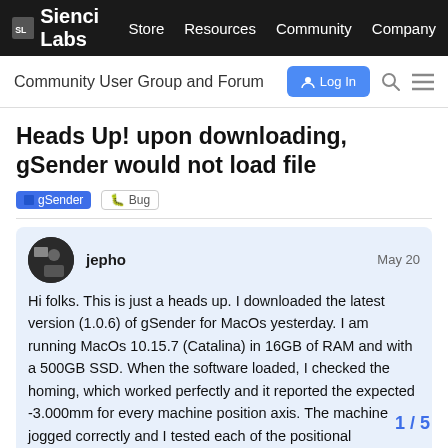Sienci Labs   Store   Resources   Community   Company
Community User Group and Forum   Log In
Heads Up! upon downloading, gSender would not load file
gSender   Bug
jepho   May 20
Hi folks. This is just a heads up. I downloaded the latest version (1.0.6) of gSender for MacOs yesterday. I am running MacOs 10.15.7 (Catalina) in 16GB of RAM and with a 500GB SSD. When the software loaded, I checked the homing, which worked perfectly and it reported the expected -3.000mm for every machine position axis. The machine jogged correctly and I tested each of the positional movements for speed worked fine.
1 / 5